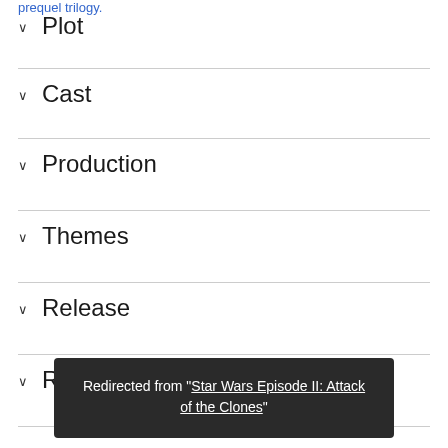prequel trilogy.
Plot
Cast
Production
Themes
Release
R
Redirected from "Star Wars Episode II: Attack of the Clones"